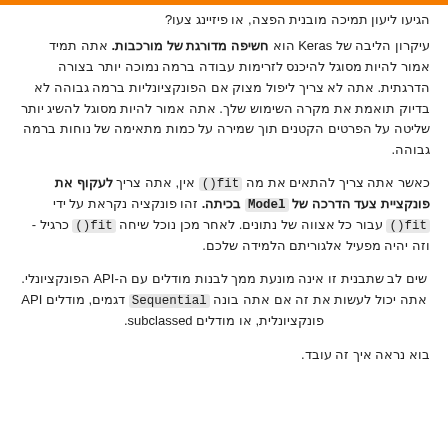הגיעו ליעון תמיכה מובנית הפצה, או פיזיינג צעו?
עיקרון הליבה של Keras הוא חשיפה מדורגת של מורכבות. אתה תמיד אמור להיות מסוגל להיכנס לזרימות עבודה ברמה נמוכה יותר בצורה הדרגתית. אתה לא צריך ליפול מצוק אם הפונקציונליות ברמה גבוהה לא בדיוק תואמת את מקרה השימוש שלך. אתה אמור להיות מסוגל להשיג יותר שליטה על הפרטים הקטנים תוך שמירה על כמות מתאימה של נוחות ברמה גבוהה.
כאשר אתה צריך להתאים את מה fit() אין, אתה צריך לעקוף את פונקציית צעד הדרכה של Model בכיתה. זהו פונקציה נקראת על ידי fit() עבור כל אצווה של נתונים. לאחר מכן נוכל שיחה fit() כרגיל - וזה יהיה מפעיל אלגוריתם הלמידה שלכם.
שים לב שתבנית זו אינה מונעת ממך לבנות מודלים עם ה-API הפונקציונלי. אתה יכול לעשות את זה אם אתה בונה Sequential דגמים, מודלים API פונקציונלית, או מודלים subclassed.
בוא נראה איך זה עובד.